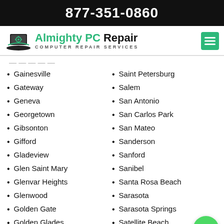877-351-0860
[Figure (logo): Almighty PC Repair logo with laptop and gear graphic, green and black text, subtitle COMPUTER REPAIR SERVICES]
Gainesville
Gateway
Geneva
Georgetown
Gibsonton
Gifford
Gladeview
Glen Saint Mary
Glenvar Heights
Glenwood
Golden Gate
Golden Glades
Goldenrod
Saint Petersburg
Salem
San Antonio
San Carlos Park
San Mateo
Sanderson
Sanford
Sanibel
Santa Rosa Beach
Sarasota
Sarasota Springs
Satellite Beach
Satsuma